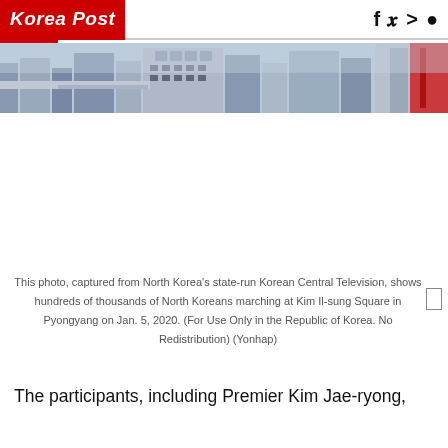Korea Post
[Figure (photo): Cityscape/urban photo strip showing buildings in Pyongyang, North Korea with a red banner visible on the right side.]
This photo, captured from North Korea's state-run Korean Central Television, shows hundreds of thousands of North Koreans marching at Kim Il-sung Square in Pyongyang on Jan. 5, 2020. (For Use Only in the Republic of Korea. No Redistribution) (Yonhap)
The participants, including Premier Kim Jae-ryong,